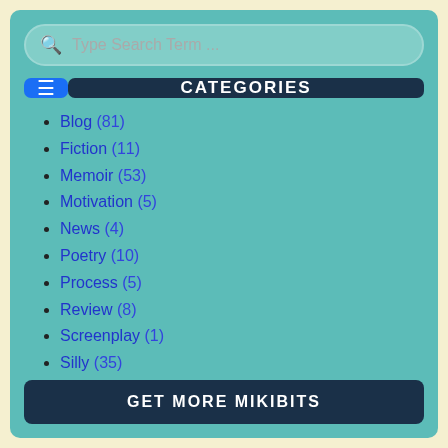Type Search Term ...
CATEGORIES
Blog (81)
Fiction (11)
Memoir (53)
Motivation (5)
News (4)
Poetry (10)
Process (5)
Review (8)
Screenplay (1)
Silly (35)
Writing (17)
GET MORE MIKIBITS